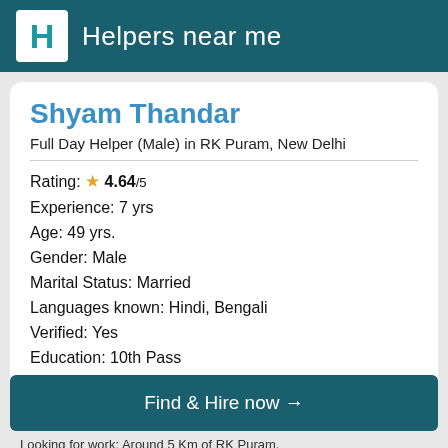Helpers near me
Shyam Thandar
Full Day Helper (Male) in RK Puram, New Delhi
Rating: ★ 4.64/5
Experience: 7 yrs
Age: 49 yrs.
Gender: Male
Marital Status: Married
Languages known: Hindi, Bengali
Verified: Yes
Education: 10th Pass
Find & Hire now →
Looking for work: Around 5 Km of RK Puram, New Delhi